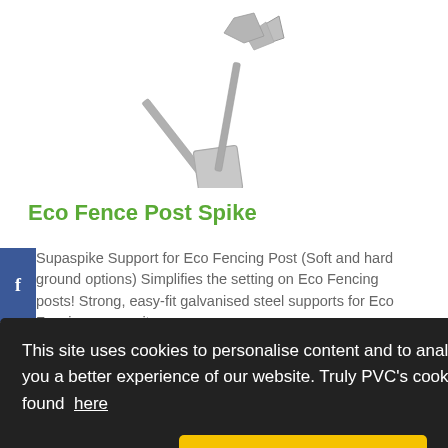[Figure (photo): Metal eco fence post spike product image on white background]
Eco Fence Post Spike
Supaspike Support for Eco Fencing Post (Soft and hard ground options) Simplifies the setting on Eco Fencing posts! Strong, easy-fit galvanised steel supports for Eco Fencing composite
This site uses cookies to personalise content and to analyse traffic to give you a better experience of our website. Truly PVC's cookies policy can be found here
I accept cookies.
[Figure (photo): Partially visible second fence post spike product image at bottom of page]